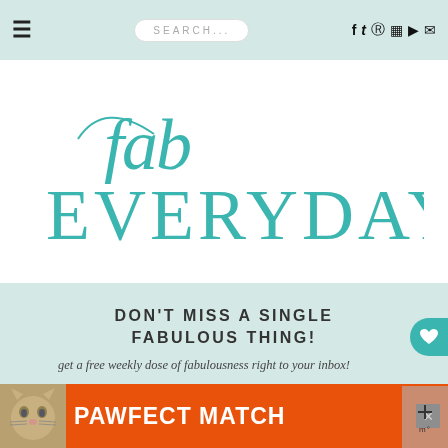≡  SEARCH...  f twitter pinterest instagram youtube mail
[Figure (logo): Fab Everyday logo — cursive 'fab' in teal above large teal serif uppercase 'EVERYDAY']
DON'T MISS A SINGLE FABULOUS THING!
get a free weekly dose of fabulousness right to your inbox!
[Figure (photo): Orange advertisement banner at bottom — cat photo on left, bold white 'PAWFECT MATCH' text, close button on right]